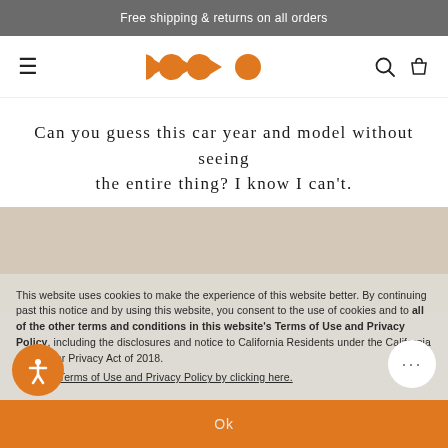Free shipping & returns on all orders
[Figure (logo): Navigation bar with hamburger menu, orange Glco logo (four pac-man style shapes), search icon, and bag icon]
Can you guess this car year and model without seeing the entire thing? I know I can't.
[Figure (photo): Blurred photo of a car, mostly out of frame, visible at the bottom of the page]
This website uses cookies to make the experience of this website better. By continuing past this notice and by using this website, you consent to the use of cookies and to all of the other terms and conditions in this website's Terms of Use and Privacy Policy, including the disclosures and notice to California Residents under the California Consumer Privacy Act of 2018.
read our Terms of Use and Privacy Policy by clicking here.
Ok